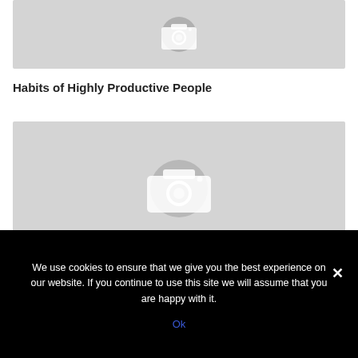[Figure (photo): Placeholder image with camera icon for article about Habits of Highly Productive People]
Habits of Highly Productive People
[Figure (photo): Placeholder image with camera icon for article about 7 Characteristics of a Peak Performer]
7 Characteristics of a Peak Performer
We use cookies to ensure that we give you the best experience on our website. If you continue to use this site we will assume that you are happy with it.
Ok